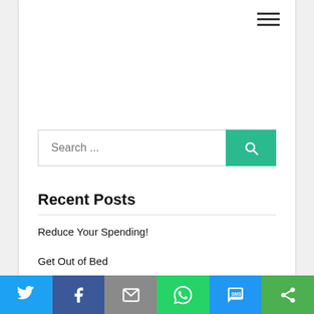[Figure (other): Hamburger menu icon (three horizontal lines) in top-right corner]
[Figure (other): Search bar with placeholder text 'Search ...' and a teal/green search button with magnifying glass icon]
Recent Posts
Reduce Your Spending!
Get Out of Bed
(partially visible text)
[Figure (other): Social sharing bar at bottom with Twitter (blue), Facebook (dark blue), Email (gray), WhatsApp (green), SMS (blue), and Share/More (green) buttons]